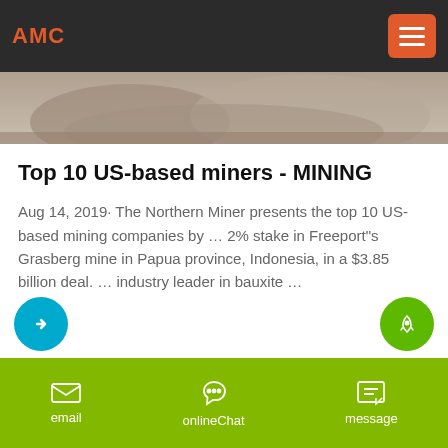AMC
[Figure (photo): Hero image showing rocky/mineral terrain, partially visible at top of page]
Top 10 US-based miners - MINING
Aug 14, 2019· The Northern Miner presents the top 10 US-based mining companies by … 2% stake in Freeport"s Grasberg mine in Papua province, Indonesia, in a $3.85 billion deal. … industry leader in bauxite …
email   onlineChat   message